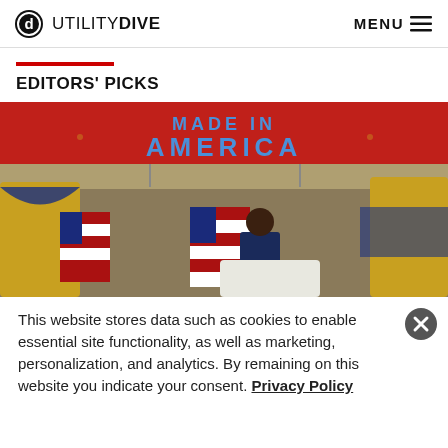UTILITY DIVE  MENU
EDITORS' PICKS
[Figure (photo): A man in a suit standing in a factory decorated with American flags and a large red banner reading 'MADE IN AMERICA']
This website stores data such as cookies to enable essential site functionality, as well as marketing, personalization, and analytics. By remaining on this website you indicate your consent. Privacy Policy